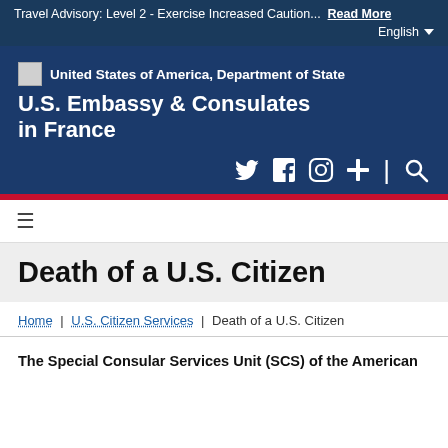Travel Advisory: Level 2 - Exercise Increased Caution... Read More
English
[Figure (logo): United States of America, Department of State seal placeholder and U.S. Embassy & Consulates in France header with social media icons (Twitter, Facebook, Instagram, plus, search)]
≡
Death of a U.S. Citizen
Home | U.S. Citizen Services | Death of a U.S. Citizen
The Special Consular Services Unit (SCS) of the American